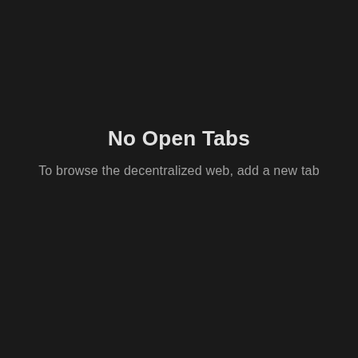No Open Tabs
To browse the decentralized web, add a new tab